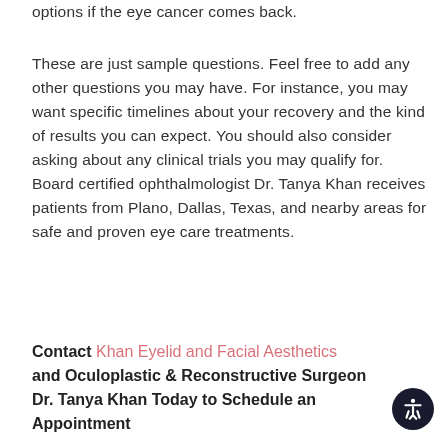options if the eye cancer comes back.
These are just sample questions. Feel free to add any other questions you may have. For instance, you may want specific timelines about your recovery and the kind of results you can expect. You should also consider asking about any clinical trials you may qualify for. Board certified ophthalmologist Dr. Tanya Khan receives patients from Plano, Dallas, Texas, and nearby areas for safe and proven eye care treatments.
Contact Khan Eyelid and Facial Aesthetics and Oculoplastic & Reconstructive Surgeon Dr. Tanya Khan Today to Schedule an Appointment